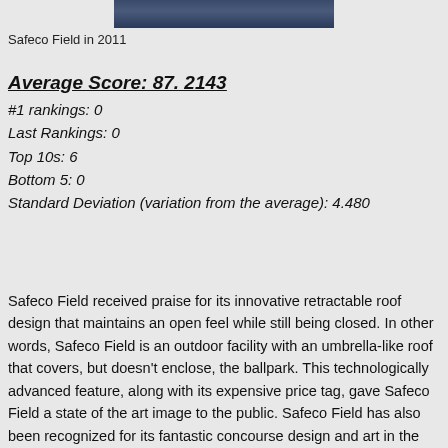[Figure (photo): Aerial or crowd photo of Safeco Field in 2011]
Safeco Field in 2011
Average Score: 87. 2143
#1 rankings: 0
Last Rankings: 0
Top 10s: 6
Bottom 5: 0
Standard Deviation (variation from the average): 4.480
Safeco Field received praise for its innovative retractable roof design that maintains an open feel while still being closed. In other words, Safeco Field is an outdoor facility with an umbrella-like roof that covers, but doesn't enclose, the ballpark. This technologically advanced feature, along with its expensive price tag, gave Safeco Field a state of the art image to the public. Safeco Field has also been recognized for its fantastic concourse design and art in the park. Like AT&T Park, Safeco has been praised for its exquisite food selection that primarily features local eateries. They also capture the regional feel quite well, but not necessarily through the architecture. A few critics have pointed out the frivolity of the